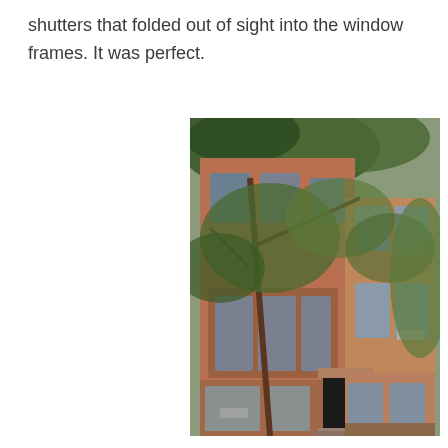shutters that folded out of sight into the window frames. It was perfect.
[Figure (photo): Photograph of a multi-story brownstone building with large trees in front. The brick building has bay windows, arched entryway, and window air conditioning units visible. Trees with green foliage partially obscure the facade.]